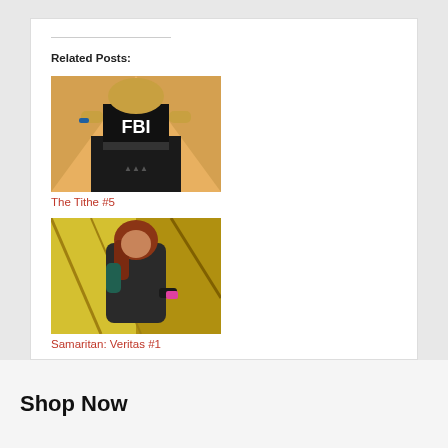Related Posts:
[Figure (illustration): Comic book cover art showing a character wearing an FBI shirt, holding a device, with orange geometric background]
The Tithe #5
[Figure (illustration): Comic book cover art showing a woman in a dark outfit against a yellow/green background]
Samaritan: Veritas #1
[Figure (illustration): Comic book cover art showing a dark figure with bright light rays emanating from the center, monochromatic]
Eclipse #1
Shop Now